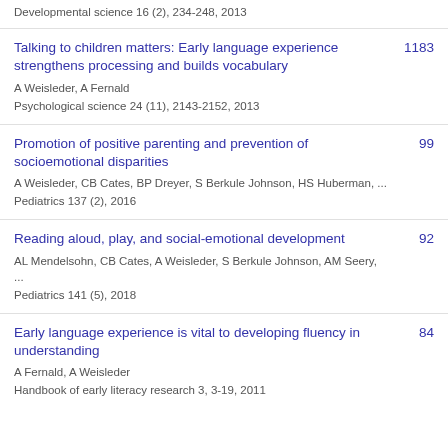Developmental science 16 (2), 234-248, 2013
Talking to children matters: Early language experience strengthens processing and builds vocabulary
A Weisleder, A Fernald
Psychological science 24 (11), 2143-2152, 2013
1183
Promotion of positive parenting and prevention of socioemotional disparities
A Weisleder, CB Cates, BP Dreyer, S Berkule Johnson, HS Huberman, ...
Pediatrics 137 (2), 2016
99
Reading aloud, play, and social-emotional development
AL Mendelsohn, CB Cates, A Weisleder, S Berkule Johnson, AM Seery, ...
Pediatrics 141 (5), 2018
92
Early language experience is vital to developing fluency in understanding
A Fernald, A Weisleder
Handbook of early literacy research 3, 3-19, 2011
84